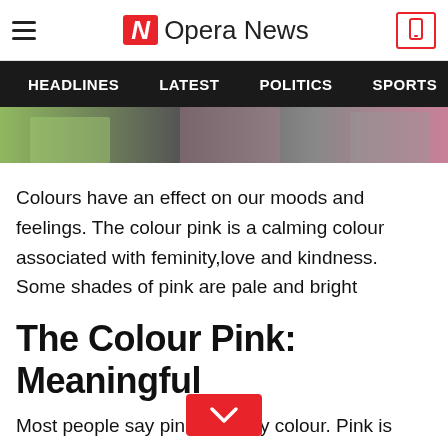Opera News
HEADLINES  LATEST  POLITICS  SPORTS
[Figure (photo): Partial image of person in pink clothing, cropped at bottom of navigation bar]
Colours have an effect on our moods and feelings. The colour pink is a calming colour associated with feminity,love and kindness. Some shades of pink are pale and bright
The Colour Pink: Meaningful
Most people say pink is a girly colour. Pink is thought to have a calming effect. Some say wearing pink shows feelings of joy and happiness. Pink also makes one feel creative, it is both feminine and vibrant. It is associated